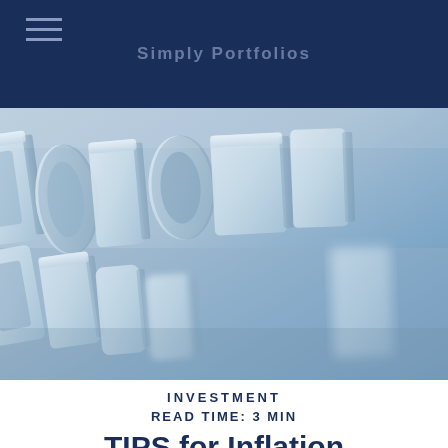Navigation bar with hamburger menu and site logo
[Figure (photo): Close-up photo of 3D white/light-blue letters spelling 'economics' arranged on a blue surface, shallow depth of field, blurred background]
INVESTMENT
READ TIME: 3 MIN
TIPS for Inflation